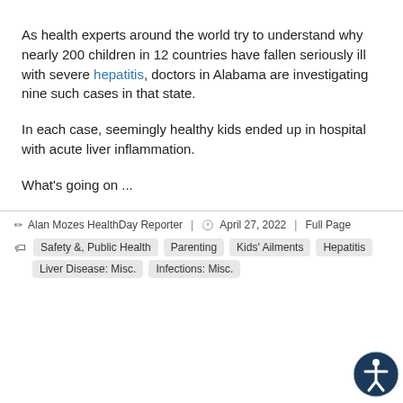As health experts around the world try to understand why nearly 200 children in 12 countries have fallen seriously ill with severe hepatitis, doctors in Alabama are investigating nine such cases in that state.
In each case, seemingly healthy kids ended up in hospital with acute liver inflammation.
What's going on ...
✏ Alan Mozes HealthDay Reporter | 🕐 April 27, 2022 | Full Page
Safety &, Public Health  Parenting  Kids' Ailments  Hepatitis  Liver Disease: Misc.  Infections: Misc.